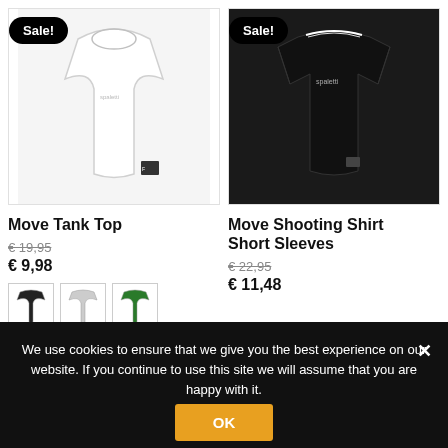[Figure (photo): White sleeveless basketball tank top (Move Tank Top) with small logo, on white background, Sale badge top left]
[Figure (photo): Black short sleeve shooting shirt (Move Shooting Shirt Short Sleeves) with white collar trim and small logo, Sale badge top left]
Move Tank Top
€ 19,95
€ 9,98
[Figure (other): Three color swatches for Move Tank Top: black, gray/white, green]
Move Shooting Shirt Short Sleeves
€ 22,95
€ 11,48
We use cookies to ensure that we give you the best experience on our website. If you continue to use this site we will assume that you are happy with it.